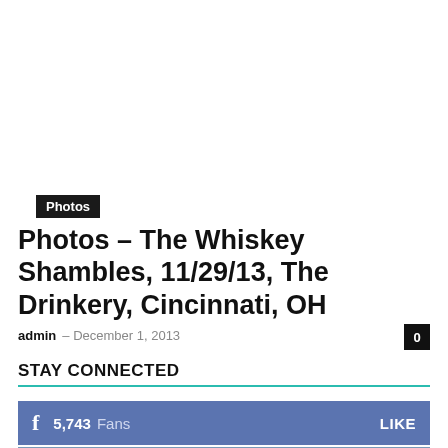[Figure (photo): White/blank area at top of page, appears to be a placeholder or advertisement space]
Photos
Photos – The Whiskey Shambles, 11/29/13, The Drinkery, Cincinnati, OH
admin – December 1, 2013   0
STAY CONNECTED
f  5,743  Fans   LIKE